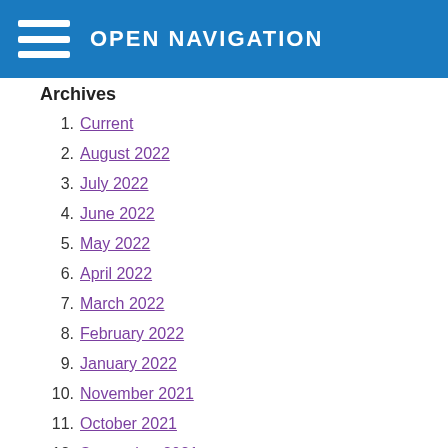OPEN NAVIGATION
Archives
1. Current
2. August 2022
3. July 2022
4. June 2022
5. May 2022
6. April 2022
7. March 2022
8. February 2022
9. January 2022
10. November 2021
11. October 2021
12. September 2021